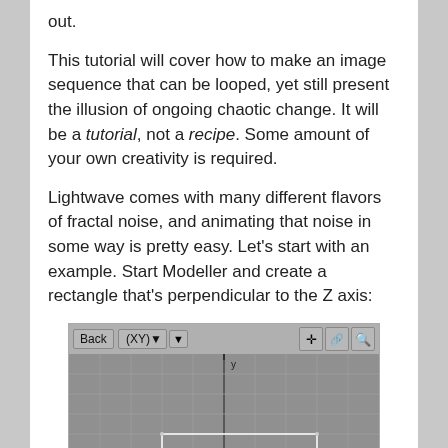out.
This tutorial will cover how to make an image sequence that can be looped, yet still present the illusion of ongoing chaotic change. It will be a tutorial, not a recipe. Some amount of your own creativity is required.
Lightwave comes with many different flavors of fractal noise, and animating that noise in some way is pretty easy. Let's start with an example. Start Modeller and create a rectangle that's perpendicular to the Z axis:
[Figure (screenshot): Lightwave Modeller viewport showing Back (XY) view with a rectangle drawn perpendicular to the Z axis. The viewport shows a grey grid with a black vertical axis line and a white rectangle outline near the bottom center.]